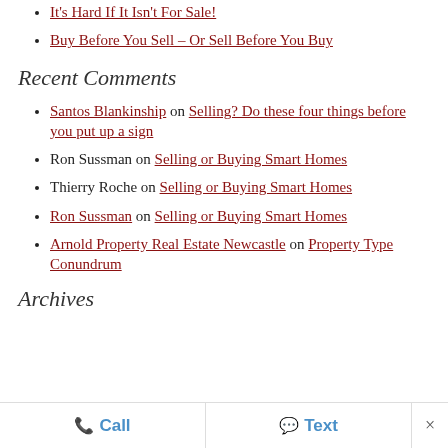It's Hard If It Isn't For Sale!
Buy Before You Sell – Or Sell Before You Buy
Recent Comments
Santos Blankinship on Selling? Do these four things before you put up a sign
Ron Sussman on Selling or Buying Smart Homes
Thierry Roche on Selling or Buying Smart Homes
Ron Sussman on Selling or Buying Smart Homes
Arnold Property Real Estate Newcastle on Property Type Conundrum
Archives
Call   Text   ×